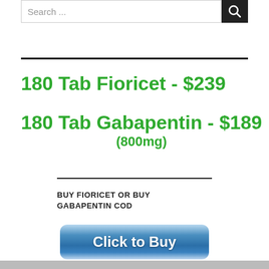Search ...
180 Tab Fioricet - $239
180 Tab Gabapentin - $189 (800mg)
BUY FIORICET OR BUY GABAPENTIN COD
[Figure (illustration): Blue rounded 'Click to Buy' button]